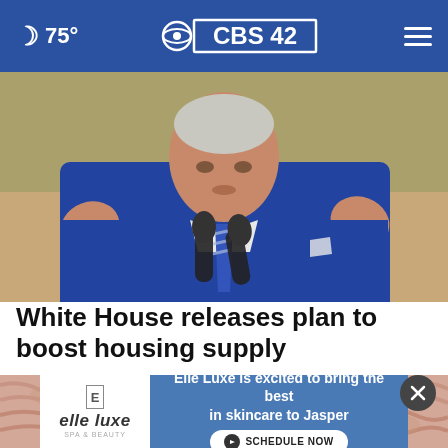🌙 75° | CBS42 | ☰
[Figure (photo): Close-up photo of a man in a blue suit with a blue striped tie, speaking at a podium with two black microphones, hands raised in a gesturing position, with decorative background.]
White House releases plan to boost housing supply
[Figure (photo): Partial image of fur or textured fabric in pink/peach tones, with an advertisement overlay at the bottom.]
Elle Luxe is excited to bring the best in skincare to Jasper